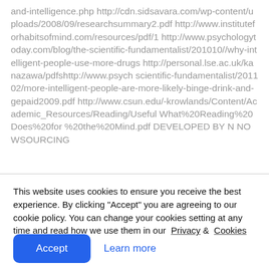and-intelligence.php http://cdn.sidsavara.com/wp-content/uploads/2008/09/researchsummary2.pdf http://www.instituteforhabitsofmind.com/resources/pdf/1 http://www.psychologytoday.com/blog/the-scientific-fundamentalist/201010//why-intelligent-people-use-more-drugs http://personal.lse.ac.uk/kanazawa/pdfshttp://www.psych scientific-fundamentalist/201102/more-intelligent-people-are-more-likely-binge-drink-and-gepaid2009.pdf http://www.csun.edu/-krowlands/Content/Academic_Resources/Reading/Useful What%20Reading%20Does%20for %20the%20Mind.pdf DEVELOPED BY N NOWSOURCING
This website uses cookies to ensure you receive the best experience. By clicking "Accept" you are agreeing to our cookie policy. You can change your cookies setting at any time and read how we use them in our Privacy & Cookies Policy.
Accept
Learn more